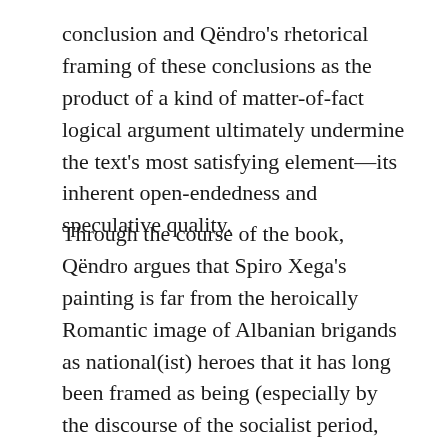conclusion and Qëndro's rhetorical framing of these conclusions as the product of a kind of matter-of-fact logical argument ultimately undermine the text's most satisfying element—its inherent open-endedness and speculative quality.
Through the course of the book, Qëndro argues that Spiro Xega's painting is far from the heroically Romantic image of Albanian brigands as national(ist) heroes that it has long been framed as being (especially by the discourse of the socialist period, which sought to strengthen national emotion by treating all Albanian paintings of Albanians, especially figures from the Ottoman period, as examples